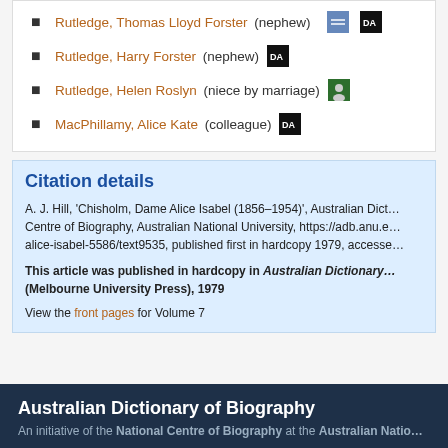Rutledge, Thomas Lloyd Forster (nephew)
Rutledge, Harry Forster (nephew)
Rutledge, Helen Roslyn (niece by marriage)
MacPhillamy, Alice Kate (colleague)
Citation details
A. J. Hill, 'Chisholm, Dame Alice Isabel (1856–1954)', Australian Dictionary of Biography, National Centre of Biography, Australian National University, https://adb.anu.e… alice-isabel-5586/text9535, published first in hardcopy 1979, accesse…
This article was published in hardcopy in Australian Dictionary … (Melbourne University Press), 1979
View the front pages for Volume 7
Australian Dictionary of Biography
An initiative of the National Centre of Biography at the Australian Natio…